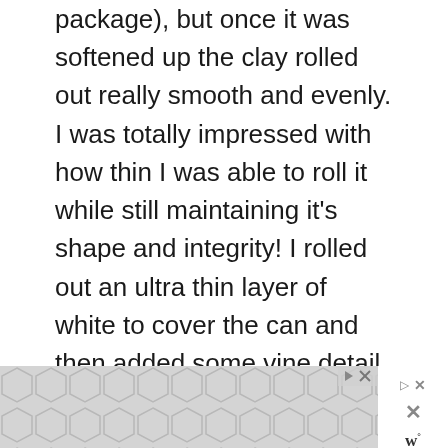package), but once it was softened up the clay rolled out really smooth and evenly. I was totally impressed with how thin I was able to roll it while still maintaining it's shape and integrity! I rolled out an ultra thin layer of white to cover the can and then added some vine detail and texture with a patterned roller. Next, I cut bushes, windows, a door and a tiny heart from other colored thin sheets of clay and attached them to my white house base. I added some texture and detail w a basic set of clay tools.
[Figure (screenshot): Social media UI panel with heart/like button showing 45.8K likes and a share button]
[Figure (infographic): WHAT'S NEXT panel with thumbnail image linking to Make Your Own Fairy...]
I baked the entire piece for 30 minutes at 275 de... shi... be...
[Figure (screenshot): Advertisement banner with hexagonal pattern and close buttons]